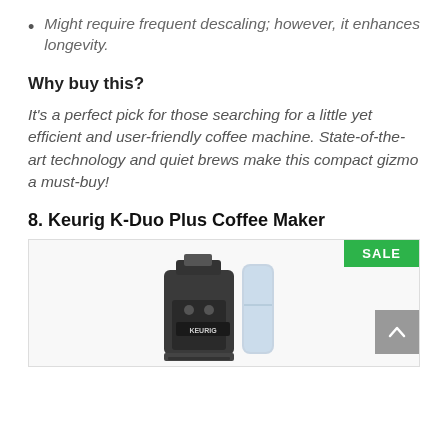Might require frequent descaling; however, it enhances longevity.
Why buy this?
It's a perfect pick for those searching for a little yet efficient and user-friendly coffee machine. State-of-the-art technology and quiet brews make this compact gizmo a must-buy!
8. Keurig K-Duo Plus Coffee Maker
[Figure (photo): Photo of Keurig K-Duo Plus Coffee Maker with a SALE badge in the top-right corner and a scroll-to-top button.]